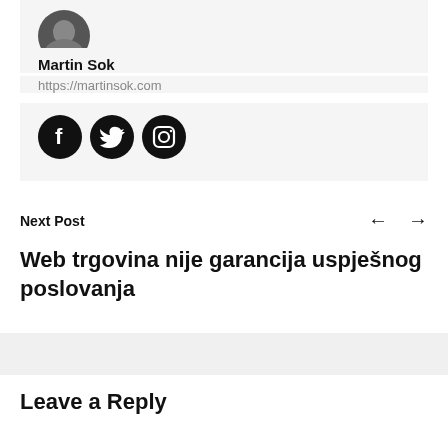[Figure (photo): Circular avatar photo of Martin Sok, partially cropped at top]
Martin Sok
https://martinsok.com
[Figure (illustration): Three black circular social media icons: Facebook, Twitter, Instagram]
Next Post
Web trgovina nije garancija uspješnog poslovanja
Leave a Reply